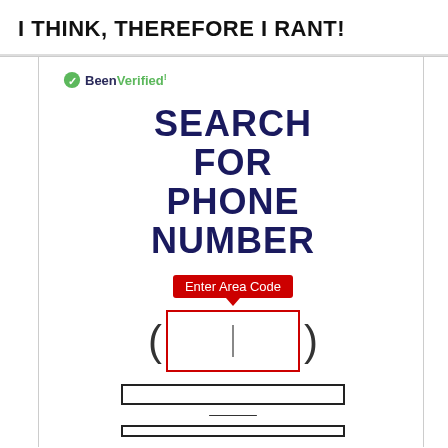I THINK, THEREFORE I RANT!
[Figure (screenshot): BeenVerified widget showing a phone number search form with 'SEARCH FOR PHONE NUMBER' heading, an area code input field with red tooltip 'Enter Area Code', parentheses around the input, a second input box below, a dash separator, and a third input box at the bottom.]